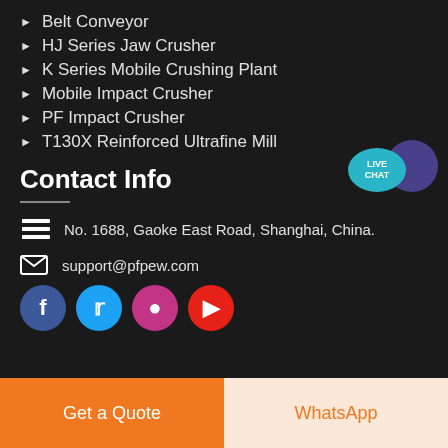Belt Conveyor
HJ Series Jaw Crusher
K Series Mobile Crushing Plant
Mobile Impact Crusher
PF Impact Crusher
T130X Reinforced Ultrafine Mill
[Figure (infographic): Live Chat speech bubble icon in teal and purple]
Contact Info
No. 1688, Gaoke East Road, Shanghai, China.
support@pfpew.com
[Figure (infographic): Social media icons: Facebook, Twitter, Instagram, YouTube]
Get a Quote
WhatsApp